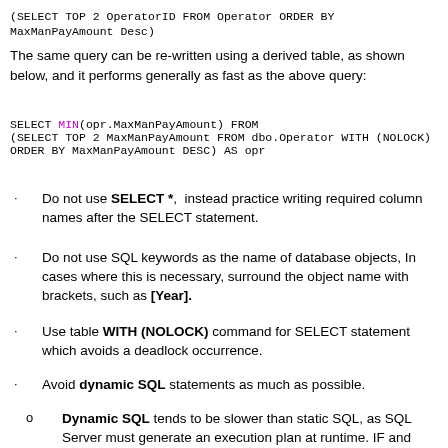(SELECT TOP 2 OperatorID FROM Operator ORDER BY MaxManPayAmount Desc)
The same query can be re-written using a derived table, as shown below, and it performs generally as fast as the above query:
SELECT MIN(opr.MaxManPayAmount) FROM
(SELECT TOP 2 MaxManPayAmount FROM dbo.Operator WITH (NOLOCK)
ORDER BY MaxManPayAmount DESC) AS opr
Do not use SELECT *,  instead practice writing required column names after the SELECT statement.
Do not use SQL keywords as the name of database objects, In cases where this is necessary, surround the object name with brackets, such as [Year].
Use table WITH (NOLOCK) command for SELECT statement which avoids a deadlock occurrence.
Avoid dynamic SQL statements as much as possible.
Dynamic SQL tends to be slower than static SQL, as SQL Server must generate an execution plan at runtime. IF and